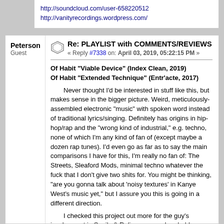http://soundcloud.com/user-658220512
http://vanityrecordings.wordpress.com/
Peterson
Guest
Re: PLAYLIST with COMMENTS/REVIEWS
« Reply #7338 on: April 03, 2019, 05:22:15 PM »
Of Habit “Viable Device” (Index Clean, 2019)
Of Habit “Extended Technique” (Entr’acte, 2017)

Never thought I’d be interested in stuff like this, but makes sense in the bigger picture. Weird, meticulously-assembled electronic “music” with spoken word instead of traditional lyrics/singing. Definitely has origins in hip-hop/rap and the “wrong kind of industrial,” e.g. techno, none of which I'm any kind of fan of (except maybe a dozen rap tunes). I’d even go as far as to say the main comparisons I have for this, I'm really no fan of: The Streets, Sleaford Mods, minimal techno whatever the fuck that I don't give two shits for. You might be thinking, “are you gonna talk about 'noisy textures' in Kanye West's music yet,” but I assure you this is going in a different direction.

I checked this project out more for the guy's involvement in Spoils & Relics, a group I probably should be a huge fan of, yet for some reason own nothing by. As above, this fella must certainly have some background in “regular” music, but what we